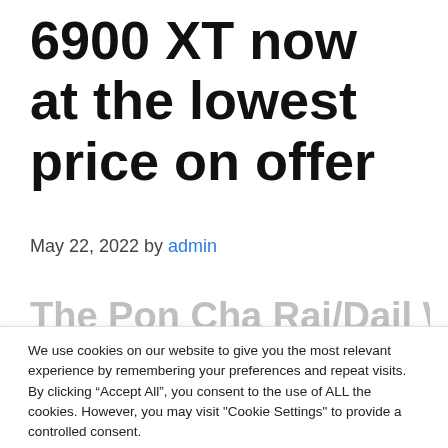6900 XT now at the lowest price on offer
May 22, 2022 by admin
The Pon Cha Rai/Dail WT Dod
We use cookies on our website to give you the most relevant experience by remembering your preferences and repeat visits. By clicking “Accept All”, you consent to the use of ALL the cookies. However, you may visit "Cookie Settings" to provide a controlled consent.